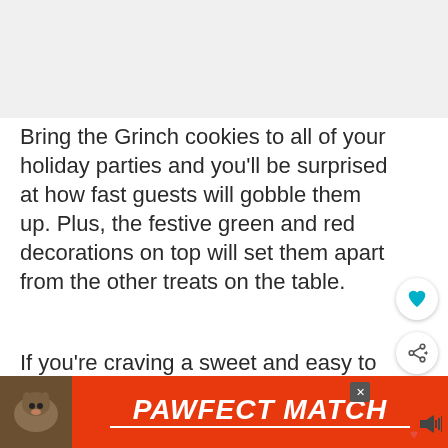[Figure (other): Gray placeholder image area at top of page]
Bring the Grinch cookies to all of your holiday parties and you'll be surprised at how fast guests will gobble them up. Plus, the festive green and red decorations on top will set them apart from the other treats on the table.
If you're craving a sweet and easy to prepare cookie for the holidays, these Gr...
[Figure (other): WHAT'S NEXT arrow card showing Southwest Chicken Wrap with food thumbnail]
[Figure (other): Advertisement banner: PAWFECT MATCH with cat image on orange/red background]